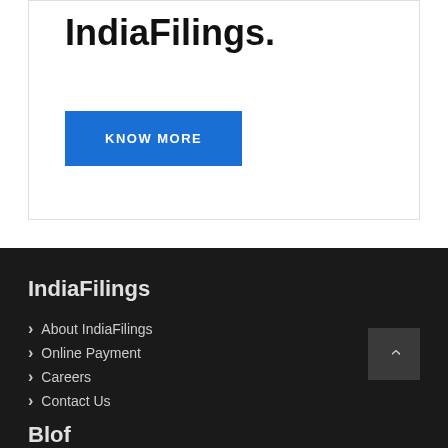IndiaFilings.
KNOW MORE
IndiaFilings
About IndiaFilings
Online Payment
Careers
Contact Us
Blof